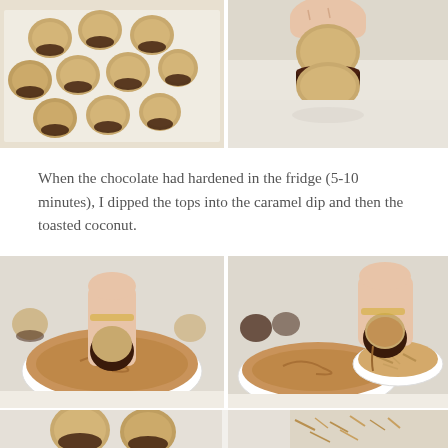[Figure (photo): Tray of small round cookie sandwiches with chocolate bottoms, viewed from above on parchment paper]
[Figure (photo): Close-up of a hand holding a cookie sandwich showing chocolate layer between two cookies]
When the chocolate had hardened in the fridge (5-10 minutes), I dipped the tops into the caramel dip and then the toasted coconut.
[Figure (photo): Hand dipping the top of a cookie into a bowl of caramel dip]
[Figure (photo): Hand pulling cookie out of caramel bowl next to toasted coconut bowl]
[Figure (photo): Partial view of finished cookie sandwiches and toasted coconut on a surface]